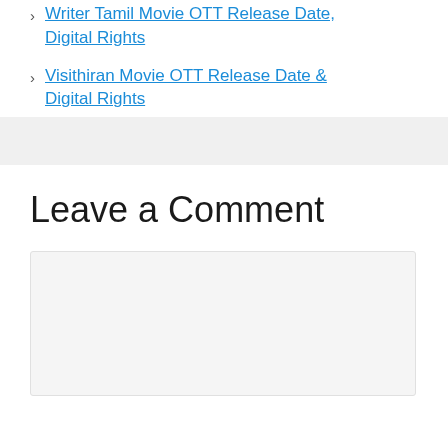Writer Tamil Movie OTT Release Date, Digital Rights
Visithiran Movie OTT Release Date & Digital Rights
Leave a Comment